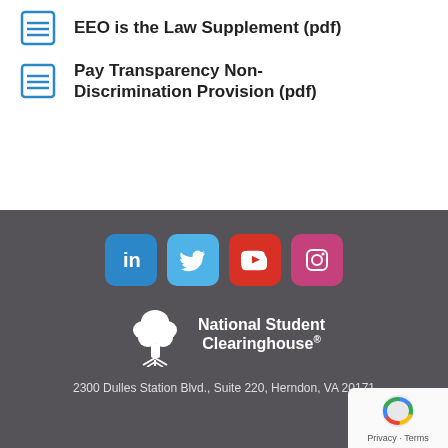EEO is the Law Supplement (pdf)
Pay Transparency Non-Discrimination Provision (pdf)
[Figure (infographic): Footer with social media icons (LinkedIn, Twitter, YouTube, Instagram), National Student Clearinghouse logo with tree graphic, address, and reCAPTCHA badge]
2300 Dulles Station Blvd., Suite 220, Herndon, VA 20171